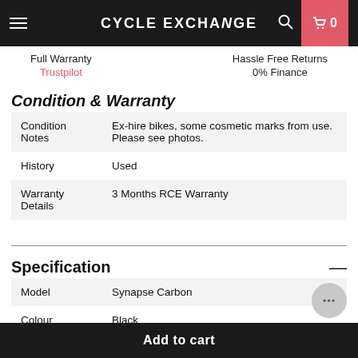CYCLE EXCHANGE
Full Warranty    Hassle Free Returns
Trustpilot    0% Finance
Condition & Warranty
| Condition Notes | Ex-hire bikes, some cosmetic marks from use. Please see photos. |
| History | Used |
| Warranty Details | 3 Months RCE Warranty |
Specification
| Model | Synapse Carbon |
| Colour | Black |
Add to cart